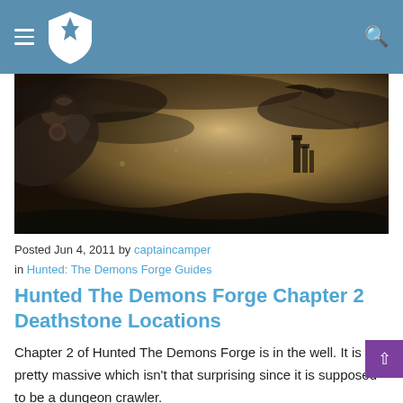Navigation header with logo and search icon
[Figure (photo): Dark fantasy game artwork showing armored warrior with shield and a creature with bow against a dramatic sky with castle silhouette in background]
Posted Jun 4, 2011 by captaincamper in Hunted: The Demons Forge Guides
Hunted The Demons Forge Chapter 2 Deathstone Locations
Chapter 2 of Hunted The Demons Forge is in the well. It is pretty massive which isn't that surprising since it is supposed to be a dungeon crawler.